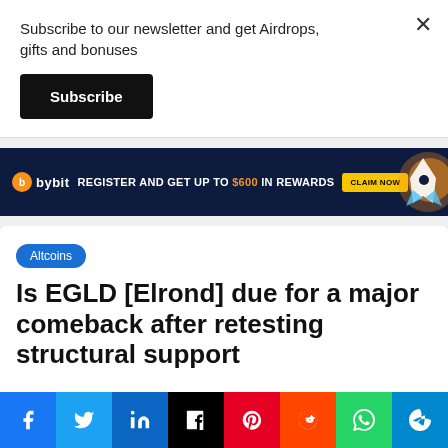Subscribe to our newsletter and get Airdrops, gifts and bonuses
Subscribe
[Figure (other): Bybit advertisement banner: REGISTER AND GET UP TO $600 IN REWARDS with CLAIM NOW button and rocket illustration]
Altcoins
Is EGLD [Elrond] due for a major comeback after retesting structural support
Facebook Twitter LinkedIn Tumblr Pinterest Reddit WhatsApp Telegram social sharing buttons